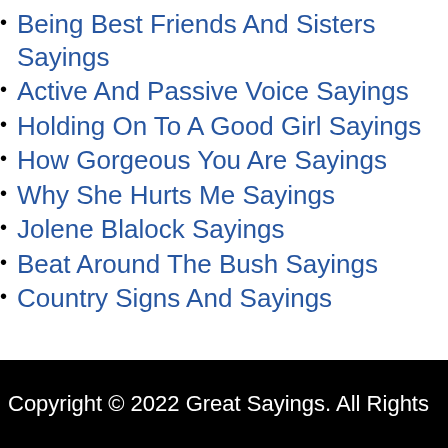Being Best Friends And Sisters Sayings
Active And Passive Voice Sayings
Holding On To A Good Girl Sayings
How Gorgeous You Are Sayings
Why She Hurts Me Sayings
Jolene Blalock Sayings
Beat Around The Bush Sayings
Country Signs And Sayings
Copyright © 2022 Great Sayings. All Rights